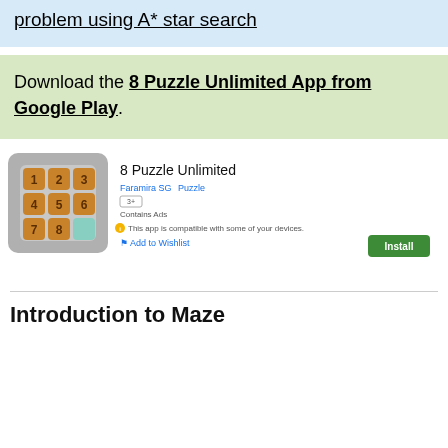problem using A* star search
Download the 8 Puzzle Unlimited App from Google Play.
[Figure (screenshot): Google Play Store listing for '8 Puzzle Unlimited' app by Faramira SG, showing the puzzle icon with numbered tiles 1-8 and an empty tile, app metadata, and Install button]
Introduction to Maze